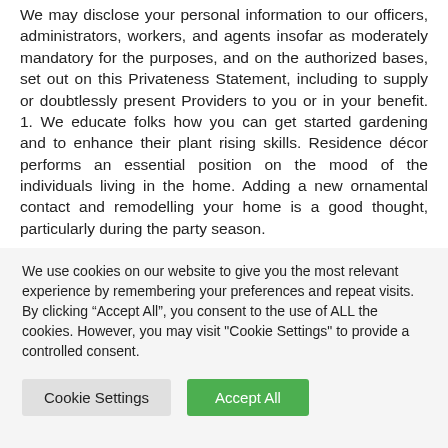We may disclose your personal information to our officers, administrators, workers, and agents insofar as moderately mandatory for the purposes, and on the authorized bases, set out on this Privateness Statement, including to supply or doubtlessly present Providers to you or in your benefit. 1. We educate folks how you can get started gardening and to enhance their plant rising skills. Residence décor performs an essential position on the mood of the individuals living in the home. Adding a new ornamental contact and remodelling your home is a good thought, particularly during the party season.
We use cookies on our website to give you the most relevant experience by remembering your preferences and repeat visits. By clicking "Accept All", you consent to the use of ALL the cookies. However, you may visit "Cookie Settings" to provide a controlled consent.
Cookie Settings
Accept All